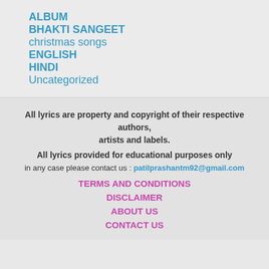ALBUM
BHAKTI SANGEET
christmas songs
ENGLISH
HINDI
Uncategorized
All lyrics are property and copyright of their respective authors, artists and labels.
All lyrics provided for educational purposes only
in any case please contact us : patilprashantm92@gmail.com
TERMS AND CONDITIONS
DISCLAIMER
ABOUT US
CONTACT US